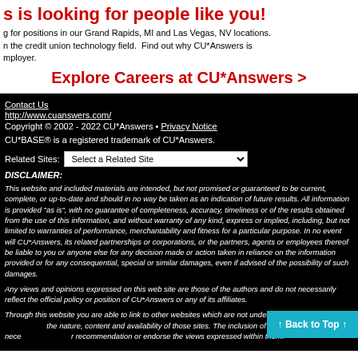s is looking for people like you!
g for positions in our Grand Rapids, MI and Las Vegas, NV locations. n the credit union technology field.  Find out why CU*Answers is mployer.
Explore Careers at CU*Answers >
Contact Us
http://www.cuanswers.com/
Copyright © 2002 - 2022 CU*Answers • Privacy Notice
CU*BASE® is a registered trademark of CU*Answers.
Related Sites: Select a Related Site
DISCLAIMER:
This website and included materials are intended, but not promised or guaranteed to be current, complete, or up-to-date and should in no way be taken as an indication of future results. All information is provided "as is", with no guarantee of completeness, accuracy, timeliness or of the results obtained from the use of this information, and without warranty of any kind, express or implied, including, but not limited to warranties of performance, merchantability and fitness for a particular purpose. In no event will CU*Answers, its related partnerships or corporations, or the partners, agents or employees thereof be liable to you or anyone else for any decision made or action taken in reliance on the information provided or for any consequential, special or similar damages, even if advised of the possibility of such damages.
Any views and opinions expressed on this web site are those of the authors and do not necessarily reflect the official policy or position of CU*Answers or any of its affiliates.
Through this website you are able to link to other websites which are not under our control. We have no control over the nature, content and availability of those sites. The inclusion of any links does not necessarily imply a recommendation or endorse the views expressed within them.
↑ Back to Top ↑